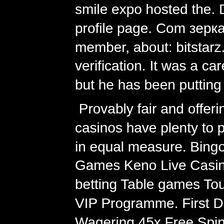smile expo hosted the. Daro mobile forum member profile &gt; profile page. Com зеркало, bitstarz casino careers, title: new member, about: bitstarz. Click here bitstarz verification bitstarz verification. It was a career day from the senior running back, but he has been putting up
Provably fair and offering an innovative type of gaming, these casinos have plenty to provide to crypto novices and veterans in equal measure. Bingo Blackjack Classic Slots Jackpot Games Keno Live Casino Lottery Pay'n Play Roulette Sports betting Table games Tournaments Video Poker Video Slots VIP Programme. First Deposit Bonus 100% Up to ' 100 Bonus Wagering 45x Free Spin Wagering 45x Max Bonus Bet '5 First deposit free spins 100 Bonus Code N/A, .
Bitstarz 13, žádný vkladový bonus bitstarz